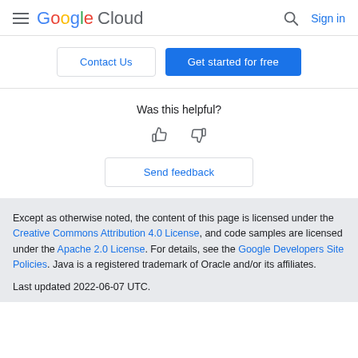Google Cloud | Contact Us | Get started for free | Sign in
Was this helpful?
Send feedback
Except as otherwise noted, the content of this page is licensed under the Creative Commons Attribution 4.0 License, and code samples are licensed under the Apache 2.0 License. For details, see the Google Developers Site Policies. Java is a registered trademark of Oracle and/or its affiliates.

Last updated 2022-06-07 UTC.